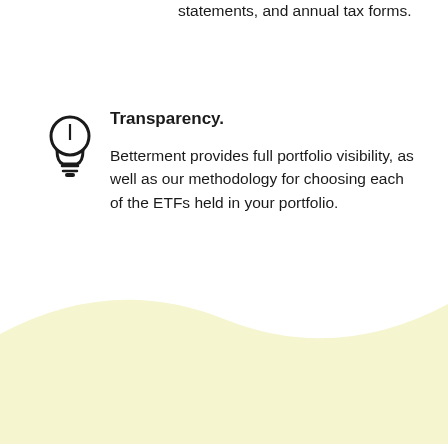statements, and annual tax forms.
Transparency.
Betterment provides full portfolio visibility, as well as our methodology for choosing each of the ETFs held in your portfolio.
[Figure (illustration): Lightbulb icon (outline style) — circular bulb shape with filament detail and a flat base with lines beneath]